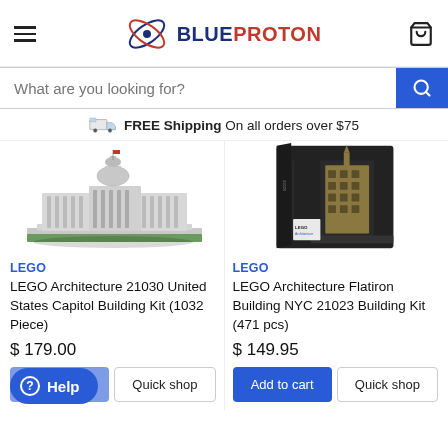BLUEPROTON
What are you looking for?
FREE Shipping On all orders over $75
[Figure (photo): LEGO Architecture United States Capitol Building model displayed on white background]
LEGO
LEGO Architecture 21030 United States Capitol Building Kit (1032 Piece)
$ 179.00
[Figure (photo): LEGO Architecture Flatiron Building NYC product box and model on dark background]
LEGO
LEGO Architecture Flatiron Building NYC 21023 Building Kit (471 pcs)
$ 149.95